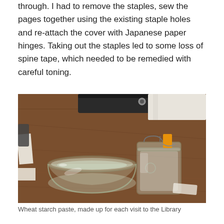through. I had to remove the staples, sew the pages together using the existing staple holes and re-attach the cover with Japanese paper hinges. Taking out the staples led to some loss of spine tape, which needed to be remedied with careful toning.
[Figure (photo): Two glass jars on a wooden table. The left jar is a wide, shallow, round glass container. The right jar is a smaller square glass jar with a metal flip-top lid and an orange label. In the background are a black leather roll/case and a white cloth. On the left edge of the image are some paper scraps and what appears to be a stapler.]
Wheat starch paste, made up for each visit to the Library